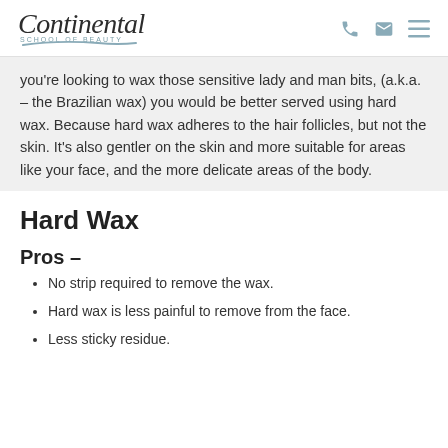Continental School of Beauty
you're looking to wax those sensitive lady and man bits, (a.k.a. – the Brazilian wax) you would be better served using hard wax. Because hard wax adheres to the hair follicles, but not the skin. It's also gentler on the skin and more suitable for areas like your face, and the more delicate areas of the body.
Hard Wax
Pros –
No strip required to remove the wax.
Hard wax is less painful to remove from the face.
Less sticky residue.